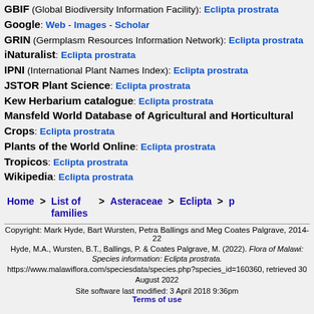GBIF (Global Biodiversity Information Facility): Eclipta prostrata
Google: Web - Images - Scholar
GRIN (Germplasm Resources Information Network): Eclipta prostrata
iNaturalist: Eclipta prostrata
IPNI (International Plant Names Index): Eclipta prostrata
JSTOR Plant Science: Eclipta prostrata
Kew Herbarium catalogue: Eclipta prostrata
Mansfeld World Database of Agricultural and Horticultural Crops: Eclipta prostrata
Plants of the World Online: Eclipta prostrata
Tropicos: Eclipta prostrata
Wikipedia: Eclipta prostrata
Home > List of families > Asteraceae > Eclipta > p
Copyright: Mark Hyde, Bart Wursten, Petra Ballings and Meg Coates Palgrave, 2014-22
Hyde, M.A., Wursten, B.T., Ballings, P. & Coates Palgrave, M. (2022). Flora of Malawi: Species information: Eclipta prostrata. https://www.malawiflora.com/speciesdata/species.php?species_id=160360, retrieved 30 August 2022
Site software last modified: 3 April 2018 9:36pm
Terms of use